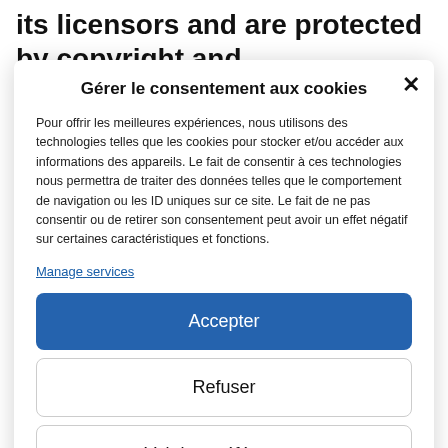its licensors and are protected by copyright and
Gérer le consentement aux cookies
Pour offrir les meilleures expériences, nous utilisons des technologies telles que les cookies pour stocker et/ou accéder aux informations des appareils. Le fait de consentir à ces technologies nous permettra de traiter des données telles que le comportement de navigation ou les ID uniques sur ce site. Le fait de ne pas consentir ou de retirer son consentement peut avoir un effet négatif sur certaines caractéristiques et fonctions.
Manage services
Accepter
Refuser
Voir les préférences
Politique de cookies  Privacy policy